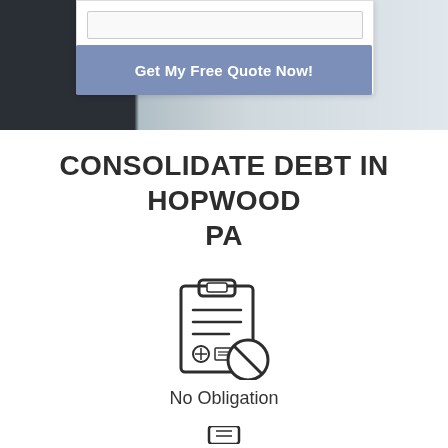[Figure (screenshot): Top section showing a form box with a 'Get My Free Quote Now!' button on a dark/light background image]
CONSOLIDATE DEBT IN HOPWOOD PA
[Figure (illustration): Clipboard with document and a no-symbol (circle with slash) icon overlay]
No Obligation